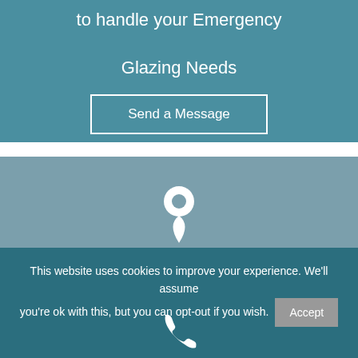to handle your Emergency Glazing Needs
Send a Message
[Figure (screenshot): Map placeholder with a white location pin icon and text EMERGENCY GLAZING ACROSS THE at the bottom]
EMERGENCY GLAZING ACROSS THE
This website uses cookies to improve your experience. We'll assume you're ok with this, but you can opt-out if you wish.
Accept
[Figure (illustration): White phone/call icon at the bottom center]